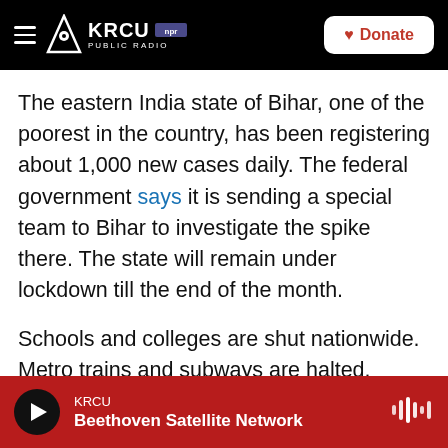KRCU NPR PUBLIC RADIO | Donate
The eastern India state of Bihar, one of the poorest in the country, has been registering about 1,000 new cases daily. The federal government says it is sending a special team to Bihar to investigate the spike there. The state will remain under lockdown till the end of the month.
Schools and colleges are shut nationwide. Metro trains and subways are halted. International flights were also grounded until recently. On Thursday, India announced that it's establishing air bubbles, or bilateral travel corridors, with some countries to allow international air travel.
KRCU | Beethoven Satellite Network